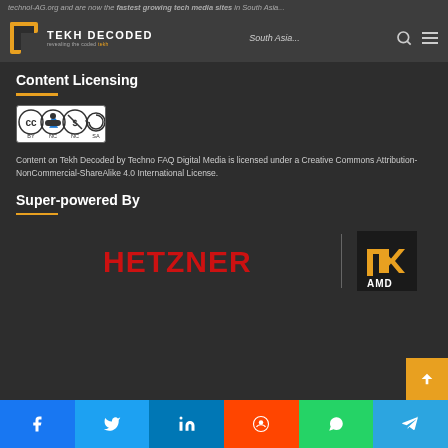...technol-AG.org and are now the fastest growing tech media sites in South Asia...
[Figure (logo): Tekh Decoded logo — orange T-shape icon with 'TEKH DECODED' text and tagline 'revealing the coded tekh']
Content Licensing
[Figure (other): Creative Commons BY-NC-SA license badge]
Content on Tekh Decoded by Techno FAQ Digital Media is licensed under a Creative Commons Attribution-NonCommercial-ShareAlike 4.0 International License.
Super-powered By
[Figure (logo): Hetzner logo in red text on dark background]
[Figure (logo): AMD logo — white 'A' arrow icon with AMD text on black background]